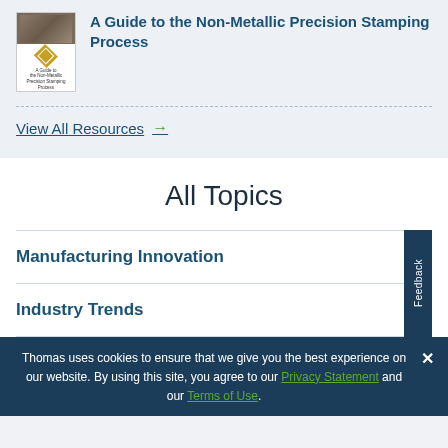A Guide to the Non-Metallic Precision Stamping Process
View All Resources →
All Topics
Manufacturing Innovation
Industry Trends
Thomas uses cookies to ensure that we give you the best experience on our website. By using this site, you agree to our Privacy Statement and our Terms of Use.